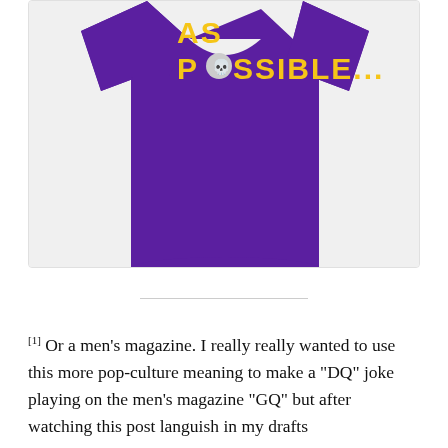[Figure (photo): A purple sleeveless tank top / muscle shirt with yellow text reading 'AS POSSIBLE...' and a skull emoji replacing the letter O in POSSIBLE. The shirt is displayed against a light gray background.]
[1] Or a men's magazine. I really really wanted to use this more pop-culture meaning to make a "DQ" joke playing on the men's magazine "GQ" but after watching this post languish in my drafts